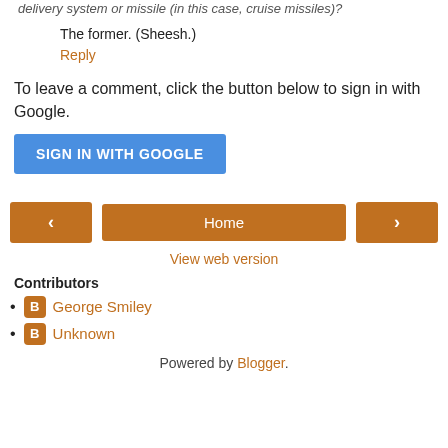delivery system or missile (in this case, cruise missiles)?
The former. (Sheesh.)
Reply
To leave a comment, click the button below to sign in with Google.
SIGN IN WITH GOOGLE
[Figure (other): Navigation bar with left arrow, Home button, and right arrow]
View web version
Contributors
George Smiley
Unknown
Powered by Blogger.